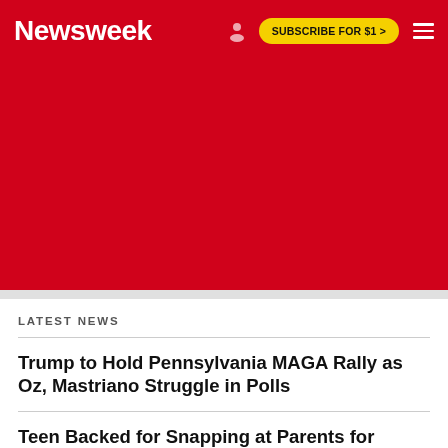Newsweek | SUBSCRIBE FOR $1 >
[Figure (other): Red advertisement/promotional area below header]
LATEST NEWS
Trump to Hold Pennsylvania MAGA Rally as Oz, Mastriano Struggle in Polls
Teen Backed for Snapping at Parents for Naming Her After Dead Sister